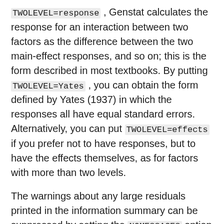TWOLEVEL=response, Genstat calculates the response for an interaction between two factors as the difference between the two main-effect responses, and so on; this is the form described in most textbooks. By putting TWOLEVEL=Yates, you can obtain the form defined by Yates (1937) in which the responses all have equal standard errors. Alternatively, you can put TWOLEVEL=effects if you prefer not to have responses, but to have the effects themselves, as for factors with more than two levels.
The warnings about any large residuals printed in the information summary can be suppressed by setting the NOMESSAGES option to residuals. The other setting, nonorthogonality, of NOMESSAGES suppresses the warning produced when there is non-orthogonality between treatment terms or covariates.